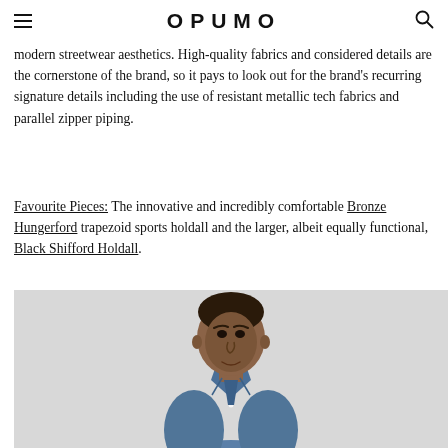OPUMO
modern streetwear aesthetics. High-quality fabrics and considered details are the cornerstone of the brand, so it pays to look out for the brand's recurring signature details including the use of resistant metallic tech fabrics and parallel zipper piping.
Favourite Pieces: The innovative and incredibly comfortable Bronze Hungerford trapezoid sports holdall and the larger, albeit equally functional, Black Shifford Holdall.
[Figure (photo): A man wearing a blue denim button-up shirt photographed from the chest up against a light grey background.]